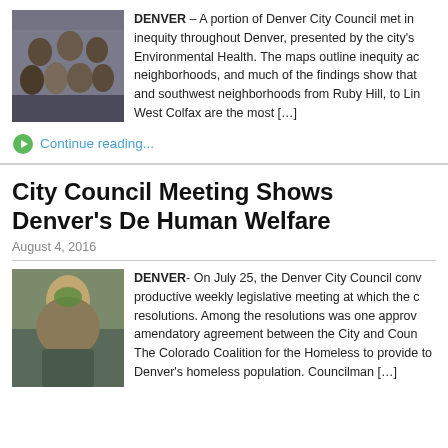[Figure (photo): Group photo of Denver City Council members seated and standing around a table]
DENVER – A portion of Denver City Council met in inequity throughout Denver, presented by the city's Environmental Health. The maps outline inequity ac neighborhoods, and much of the findings show that and southwest neighborhoods from Ruby Hill, to Lin West Colfax are the most […]
Continue reading...
City Council Meeting Shows Denver's De Human Welfare
August 4, 2016
[Figure (photo): Elderly bearded man in wheelchair wearing green cap]
DENVER- On July 25, the Denver City Council conv productive weekly legislative meeting at which the c resolutions. Among the resolutions was one approv amendatory agreement between the City and Coun The Colorado Coalition for the Homeless to provide to Denver's homeless population. Councilman […]